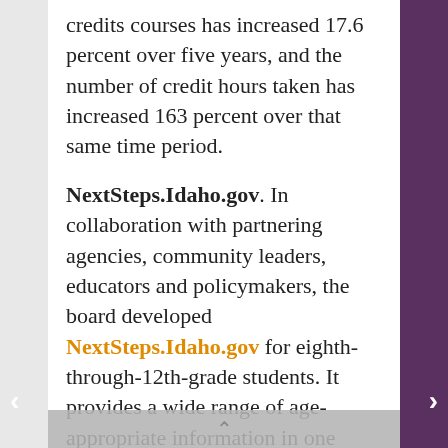credits courses has increased 17.6 percent over five years, and the number of credit hours taken has increased 163 percent over that same time period.
NextSteps.Idaho.gov. In collaboration with partnering agencies, community leaders, educators and policymakers, the board developed NextSteps.Idaho.gov for eighth-through-12th-grade students. It provides a wide range of age-appropriate information in one easy-to-access place. The site has since become a leading resource for Idaho students, parents and educators. Notably, the Utah system of Higher Education Commissioner's Office used the Next Steps Idaho template for a similar website.